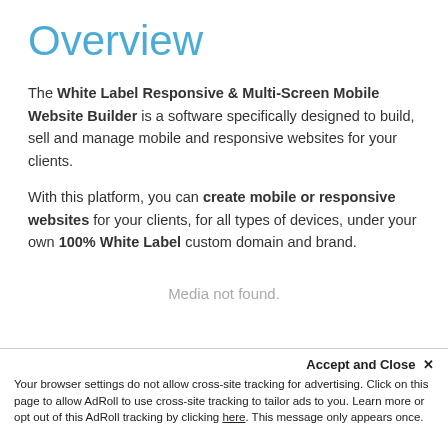Overview
The White Label Responsive & Multi-Screen Mobile Website Builder is a software specifically designed to build, sell and manage mobile and responsive websites for your clients.
With this platform, you can create mobile or responsive websites for your clients, for all types of devices, under your own 100% White Label custom domain and brand.
Media not found.
Accept and Close ✕
Your browser settings do not allow cross-site tracking for advertising. Click on this page to allow AdRoll to use cross-site tracking to tailor ads to you. Learn more or opt out of this AdRoll tracking by clicking here. This message only appears once.